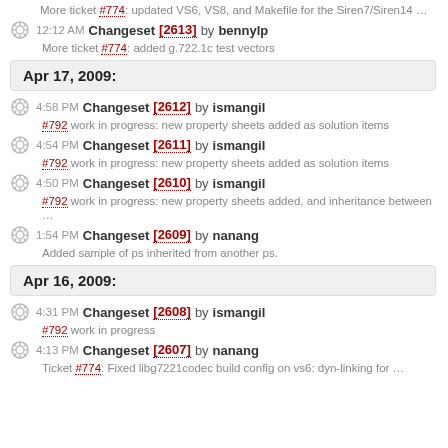More ticket #774: updated VS6, VS8, and Makefile for the Siren7/Siren14 ...
12:12 AM Changeset [2613] by bennylp
More ticket #774: added g.722.1c test vectors
Apr 17, 2009:
4:58 PM Changeset [2612] by ismangil
#792 work in progress: new property sheets added as solution items
4:54 PM Changeset [2611] by ismangil
#792 work in progress: new property sheets added as solution items
4:50 PM Changeset [2610] by ismangil
#792 work in progress: new property sheets added, and inheritance between
...
1:54 PM Changeset [2609] by nanang
Added sample of ps inherited from another ps.
Apr 16, 2009:
4:31 PM Changeset [2608] by ismangil
#792 work in progress
4:13 PM Changeset [2607] by nanang
Ticket #774: Fixed libg7221codec build config on vs6: dyn-linking for ...